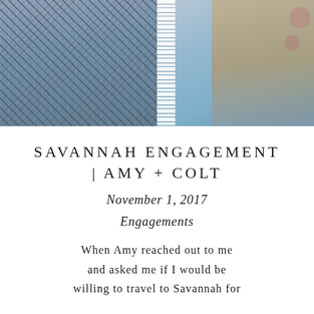[Figure (photo): Close-up photo of two women, one wearing a plaid shirt on the left and one wearing a blue floral dress with white lace detail on the right, with blonde hair visible]
SAVANNAH ENGAGEMENT | AMY + COLT
November 1, 2017
Engagements
When Amy reached out to me and asked me if I would be willing to travel to Savannah for